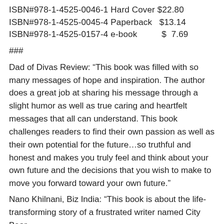ISBN#978-1-4525-0046-1 Hard Cover $22.80
ISBN#978-1-4525-0045-4 Paperback   $13.14
ISBN#978-1-4525-0157-4 e-book         $  7.69
###
Dad of Divas Review: “This book was filled with so many messages of hope and inspiration. The author does a great job at sharing his message through a slight humor as well as true caring and heartfelt messages that all can understand. This book challenges readers to find their own passion as well as their own potential for the future…so truthful and honest and makes you truly feel and think about your own future and the decisions that you wish to make to move you forward toward your own future.”
Nano Khilnani, Biz India: “This book is about the life-transforming story of a frustrated writer named City Bear